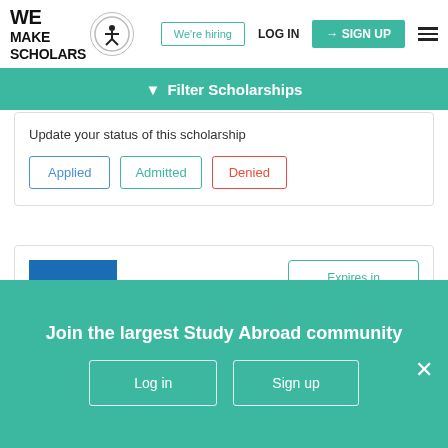[Figure (logo): We Make Scholars logo with acrobat figure in circle]
We're hiring | LOG IN | SIGN UP
Filter Scholarships
Update your status of this scholarship
Applied
Admitted
Denied
[Figure (logo): NATA (National Air Transportation Association) blue logo]
Expires in 123 days
NATA Business Scholarship, 2022
Join the largest Study Abroad community
Log in
Sign up